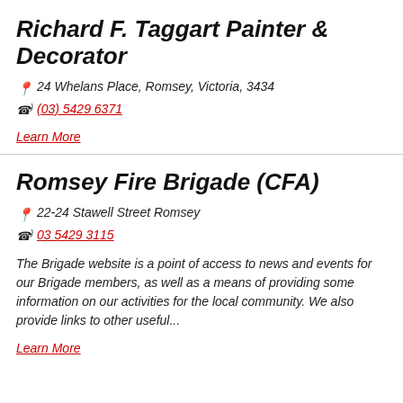Richard F. Taggart Painter & Decorator
📍 24 Whelans Place, Romsey, Victoria, 3434
(03) 5429 6371
Learn More
Romsey Fire Brigade (CFA)
📍 22-24 Stawell Street Romsey
03 5429 3115
The Brigade website is a point of access to news and events for our Brigade members, as well as a means of providing some information on our activities for the local community. We also provide links to other useful...
Learn More